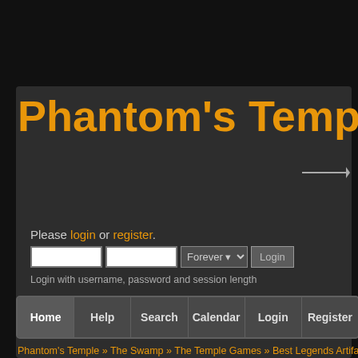Phantom's Temple
Please login or register.
[Figure (screenshot): Login form with two text fields, a session-length dropdown set to 'Forever', and a Login button]
Login with username, password and session length
Home  Help  Search  Calendar  Login  Register
Phantom's Temple » The Swamp » The Temple Games » Best Legends Artifact Desi...
Poll
Best Legends Artifact - Finals